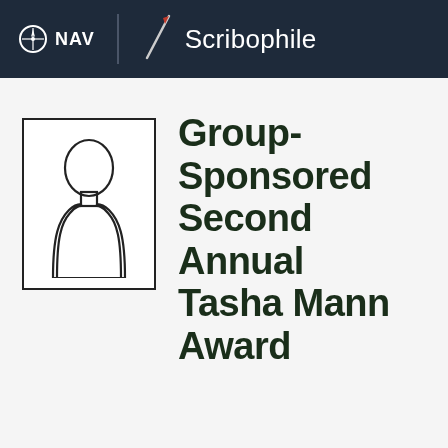NAV  Scribophile
[Figure (illustration): Placeholder person silhouette icon in a rectangular portrait frame]
Group-Sponsored Second Annual Tasha Mann Award